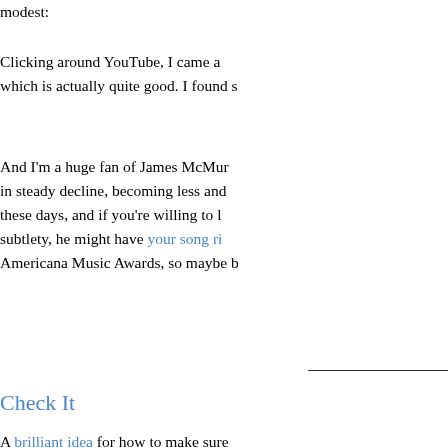modest:
Clicking around YouTube, I came a which is actually quite good. I found s
And I'm a huge fan of James McMur in steady decline, becoming less and these days, and if you're willing to l subtlety, he might have your song ri Americana Music Awards, so maybe b
Check It
A brilliant idea for how to make sure through checked luggage doesn't get l
A "weapons" is defined as a rifle, sh Yes, starter pistols - those little gun are considered weapons...and do N